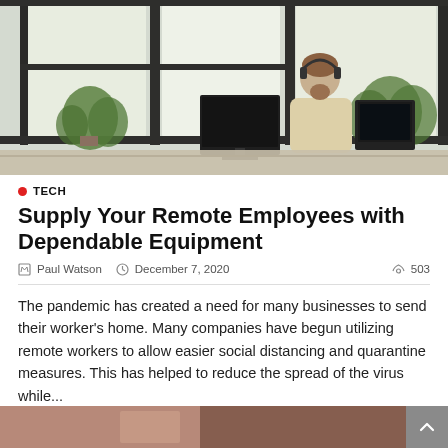[Figure (photo): Man with headset working at a computer in a bright office with large windows and indoor plants]
TECH
Supply Your Remote Employees with Dependable Equipment
Paul Watson   December 7, 2020   503
The pandemic has created a need for many businesses to send their worker's home. Many companies have begun utilizing remote workers to allow easier social distancing and quarantine measures. This has helped to reduce the spread of the virus while...
[Figure (photo): Partial view of a second article image at the bottom of the page]